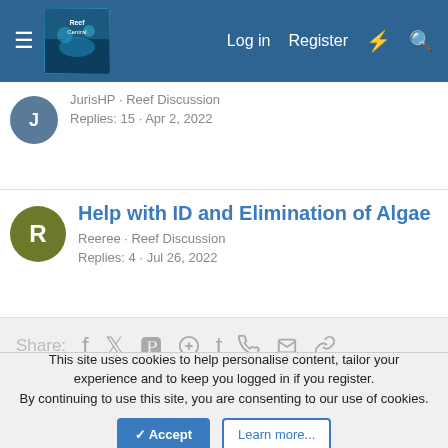Log in  Register
JurisHP · Reef Discussion
Replies: 15 · Apr 2, 2022
Help with ID and Elimination of Algae
Reeree · Reef Discussion
Replies: 4 · Jul 26, 2022
Share:
< Reef Discussion
Contact us  Terms and rules  Privacy policy  Help
Community platform by XenForo® © 2010-2022 XenForo Ltd.
This site uses cookies to help personalise content, tailor your experience and to keep you logged in if you register.
By continuing to use this site, you are consenting to our use of cookies.